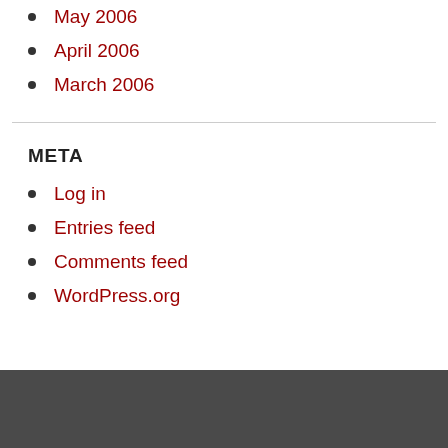May 2006
April 2006
March 2006
META
Log in
Entries feed
Comments feed
WordPress.org